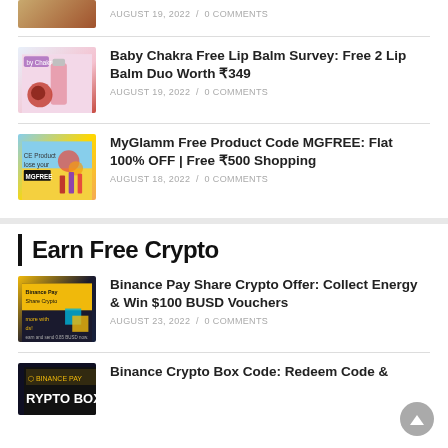AUGUST 19, 2022 / 0 COMMENTS
Baby Chakra Free Lip Balm Survey: Free 2 Lip Balm Duo Worth ₹349
AUGUST 19, 2022 / 0 COMMENTS
MyGlamm Free Product Code MGFREE: Flat 100% OFF | Free ₹500 Shopping
AUGUST 18, 2022 / 0 COMMENTS
Earn Free Crypto
Binance Pay Share Crypto Offer: Collect Energy & Win $100 BUSD Vouchers
AUGUST 23, 2022 / 0 COMMENTS
Binance Crypto Box Code: Redeem Code &